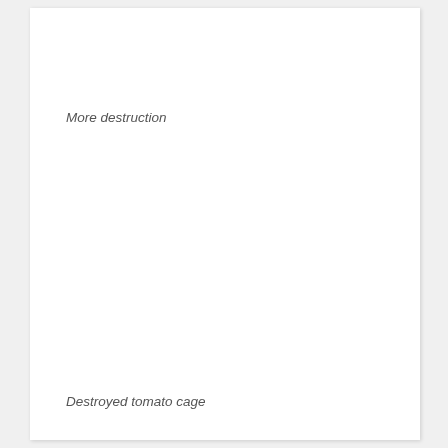More destruction
Destroyed tomato cage